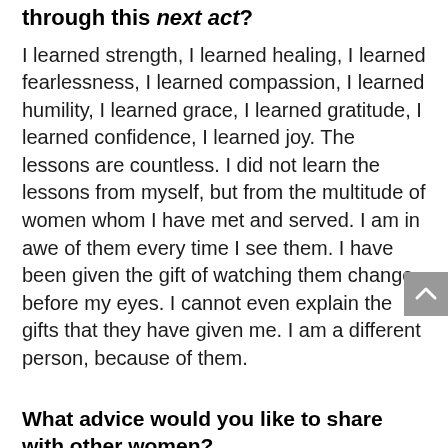through this next act?
I learned strength, I learned healing, I learned fearlessness, I learned compassion, I learned humility, I learned grace, I learned gratitude, I learned confidence, I learned joy. The lessons are countless. I did not learn the lessons from myself, but from the multitude of women whom I have met and served. I am in awe of them every time I see them. I have been given the gift of watching them change before my eyes. I cannot even explain the gifts that they have given me. I am a different person, because of them.
What advice would you like to share with other women?
I would say that if you are not happy, if things